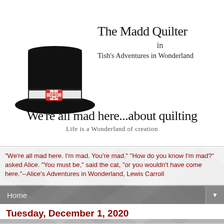[Figure (illustration): Black silhouette of a top hat with a decorative red and white quilt-patterned badge/buckle on the hatband. The hat is the iconic Mad Hatter style hat.]
The Madd Quilter
in
Tish's Adventures in Wonderland
We're all mad here...about quilting
Life is a Wonderland of creation
"We're all mad here. I'm mad. You're mad." "How do you know I'm mad?" asked Alice. "You must be," said the cat, "or you wouldn't have come here."--Alice's Adventures in Wonderland, Lewis Carroll
Home
Tuesday, December 1, 2020